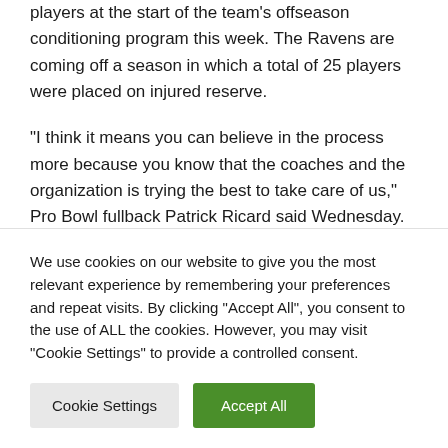players at the start of the team's offseason conditioning program this week. The Ravens are coming off a season in which a total of 25 players were placed on injured reserve.
“I think it means you can believe in the process more because you know that the coaches and the organization is trying the best to take care of us,” Pro Bowl fullback Patrick Ricard said Wednesday. “They are
We use cookies on our website to give you the most relevant experience by remembering your preferences and repeat visits. By clicking “Accept All”, you consent to the use of ALL the cookies. However, you may visit "Cookie Settings" to provide a controlled consent.